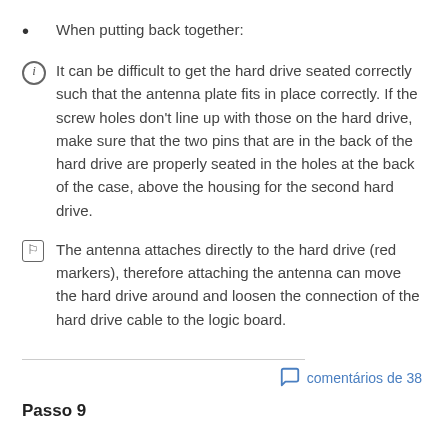When putting back together:
It can be difficult to get the hard drive seated correctly such that the antenna plate fits in place correctly. If the screw holes don't line up with those on the hard drive, make sure that the two pins that are in the back of the hard drive are properly seated in the holes at the back of the case, above the housing for the second hard drive.
The antenna attaches directly to the hard drive (red markers), therefore attaching the antenna can move the hard drive around and loosen the connection of the hard drive cable to the logic board.
comentários de 38
Passo 9